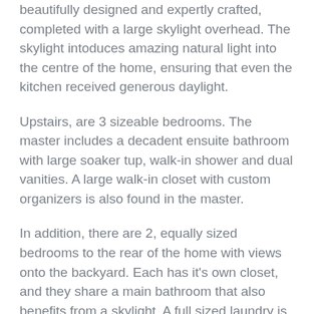beautifully designed and expertly crafted, completed with a large skylight overhead.  The skylight intoduces amazing natural light into the centre of the home, ensuring that even the kitchen received generous daylight.
Upstairs, are 3 sizeable bedrooms.  The master includes a decadent ensuite bathroom with large soaker tup, walk-in shower and dual vanities.  A large walk-in closet with custom organizers is also found in the master.
In addition, there are 2, equally sized bedrooms to the rear of the home with views onto the backyard.  Each has it's own closet, and they share a main bathroom that also benefits from a skylight.  A full sized laundry is also located on the upper level.